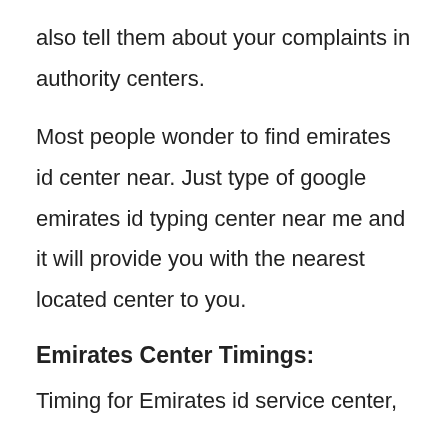also tell them about your complaints in authority centers.
Most people wonder to find emirates id center near. Just type of google emirates id typing center near me and it will provide you with the nearest located center to you.
Emirates Center Timings:
Timing for Emirates id service center,